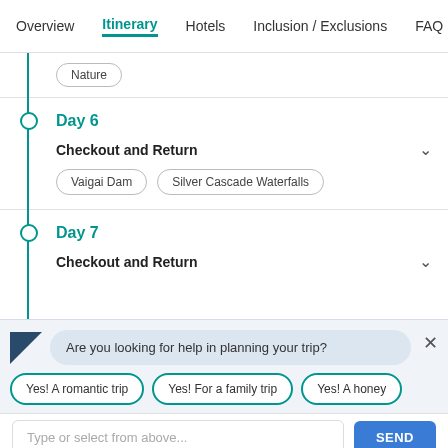Overview | Itinerary | Hotels | Inclusion / Exclusions | FAQ
Nature
Day 6
Checkout and Return
Vaigai Dam
Silver Cascade Waterfalls
Day 7
Checkout and Return
Are you looking for help in planning your trip?
Yes! A romantic trip
Yes! For a family trip
Yes! A honey...
Type or select from above...
SEND